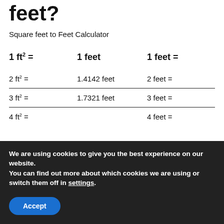feet?
Square feet to Feet Calculator
| 1 ft² = | 1 feet | 1 feet = |
| --- | --- | --- |
| 2 ft² = | 1.4142 feet | 2 feet = |
| 3 ft² = | 1.7321 feet | 3 feet = |
| 4 ft² = | ... | 4 feet = |
We are using cookies to give you the best experience on our website.
You can find out more about which cookies we are using or switch them off in settings.
Accept